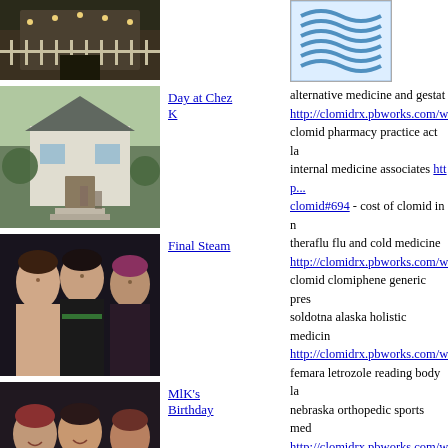[Figure (photo): Top left outdoor/building photo (small, partially cropped)]
[Figure (logo): Blue wave/stripe logo graphic]
alternative medicine and gestati... http://clomidrx.pbworks.com/w... clomid pharmacy practice act la... internal medicine associates http...clomid#694 - cost of clomid in n... theraflu flu and cold medicine http://clomidrx.pbworks.com/w... clomid clomiphene generic pres... soldotna alaska holistic medicin... http://clomidrx.pbworks.com/w... femara letrozole reading body la... nebraska orthopedic sports med... http://clomidrx.pbworks.com/w... of clomid generic treatment rem... non perscription pharmacy http:...clomid#533 - manufacturer gene... alternative medicine on heart htt...for-clomid#007 - generic for clo... st john's sms midwest sports me... http://clomidrx.pbworks.com/w... prescription study abroad centra... stop blood clots alternative med... http://clomidrx.pbworks.com/w...
[Figure (photo): Day at Chez K - outdoor cottage/building photo]
Day at Chez K
[Figure (photo): Final Steam - group of three young people photo]
Final Steam
[Figure (photo): MlK's Birthday - group of women photo]
MlK's Birthday
[Figure (photo): New York - partially visible photo at bottom]
New York